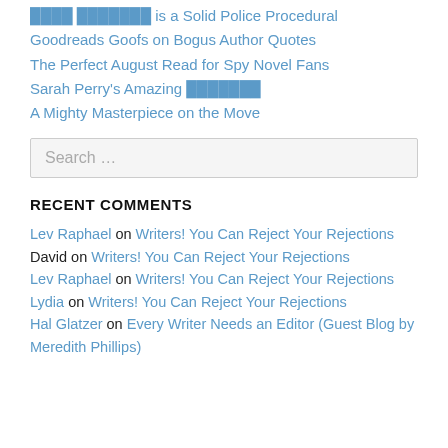████ ███████ is a Solid Police Procedural
Goodreads Goofs on Bogus Author Quotes
The Perfect August Read for Spy Novel Fans
Sarah Perry's Amazing ███████
A Mighty Masterpiece on the Move
Search …
RECENT COMMENTS
Lev Raphael on Writers! You Can Reject Your Rejections
David on Writers! You Can Reject Your Rejections
Lev Raphael on Writers! You Can Reject Your Rejections
Lydia on Writers! You Can Reject Your Rejections
Hal Glatzer on Every Writer Needs an Editor (Guest Blog by Meredith Phillips)